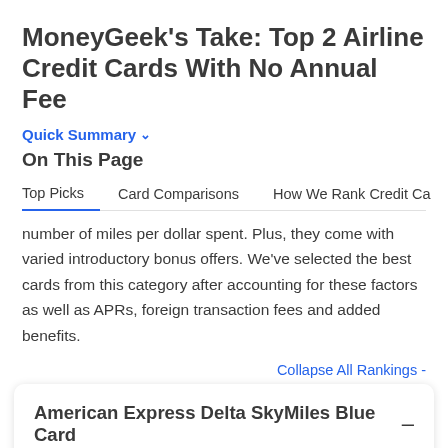MoneyGeek's Take: Top 2 Airline Credit Cards With No Annual Fee
Quick Summary ∨
On This Page
Top Picks   Card Comparisons   How We Rank Credit Ca
number of miles per dollar spent. Plus, they come with varied introductory bonus offers. We've selected the best cards from this category after accounting for these factors as well as APRs, foreign transaction fees and added benefits.
Collapse All Rankings -
American Express Delta SkyMiles Blue Card
A great miles rewards card with no annual fees
Excellent